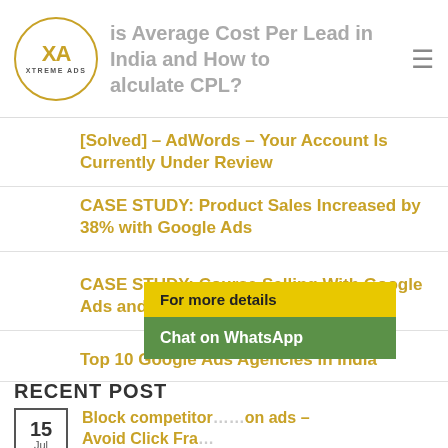XTREME ADS — What is Average Cost Per Lead in India and How to Calculate CPL?
[Solved] – AdWords – Your Account Is Currently Under Review
CASE STUDY: Product Sales Increased by 38% with Google Ads
CASE STUDY: Course Selling With Google Ads and ClickFunnel
Top 10 Google Ads Agencies in India
RECENT POST
15 Jul — Block competitor ads on Google ads – Avoid Click Fraud
Comments Off
26 Apr — Top 10 Google Ads Agencies in India
1 Comment
[Figure (screenshot): WhatsApp chat popup with 'For more details' yellow label and 'Chat on WhatsApp' green button]